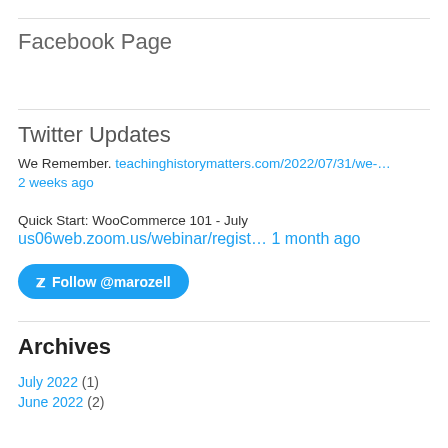Facebook Page
Twitter Updates
We Remember. teachinghistorymatters.com/2022/07/31/we-…
2 weeks ago
Quick Start: WooCommerce 101 - July
us06web.zoom.us/webinar/regist… 1 month ago
[Figure (other): Follow @marozell Twitter button]
Archives
July 2022 (1)
June 2022 (2)